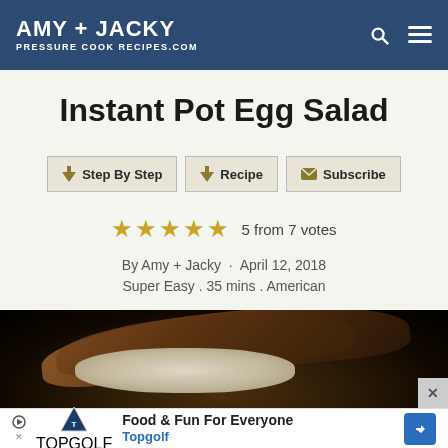AMY + JACKY PRESSURE COOK RECIPES.COM
Instant Pot Egg Salad
Step By Step
Recipe
Subscribe
5 from 7 votes
By Amy + Jacky · April 12, 2018
Super Easy . 35 mins . American
[Figure (photo): Photo of Instant Pot Egg Salad sandwich on dark background]
Food & Fun For Everyone Topgolf